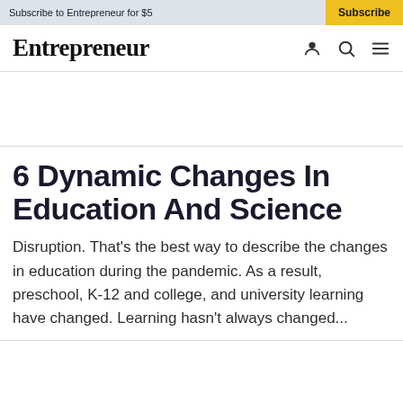Subscribe to Entrepreneur for $5
Subscribe
Entrepreneur
6 Dynamic Changes In Education And Science
Disruption. That's the best way to describe the changes in education during the pandemic. As a result, preschool, K-12 and college, and university learning have changed. Learning hasn't always changed...